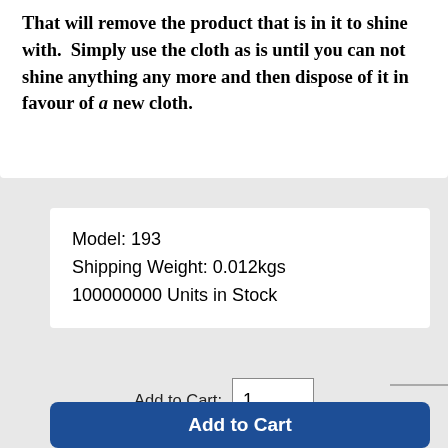That will remove the product that is in it to shine with.  Simply use the cloth as is until you can not shine anything any more and then dispose of it in favour of a new cloth.
Model: 193
Shipping Weight: 0.012kgs
100000000 Units in Stock
Add to Cart: 1
Add to Cart